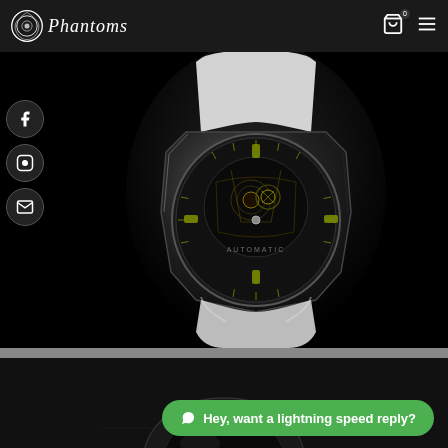Phantoms — navigation header with logo, cart icon, and hamburger menu
[Figure (photo): Close-up photo of a dark luxury mechanical watch with exposed skeleton movement, black case and dial, on a dark black background]
[Figure (photo): Partial view of a second watch product on dark background at the bottom of the page]
Hey, want a lightning speed reply?